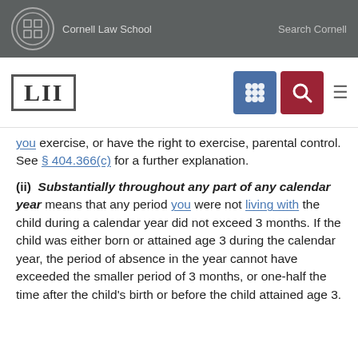Cornell Law School | Search Cornell
[Figure (logo): LII Legal Information Institute navigation bar with blue grid icon and red search icon]
you exercise, or have the right to exercise, parental control. See § 404.366(c) for a further explanation.
(ii) Substantially throughout any part of any calendar year means that any period you were not living with the child during a calendar year did not exceed 3 months. If the child was either born or attained age 3 during the calendar year, the period of absence in the year cannot have exceeded the smaller period of 3 months, or one-half the time after the child's birth or before the child attained age 3.